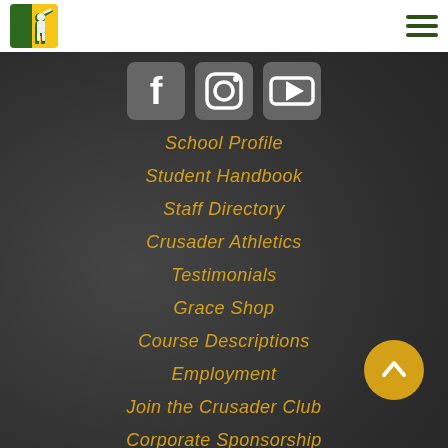Grace Christian School navigation header with logo and hamburger menu
[Figure (logo): School logo: knight/crusader figure in green and gold square]
[Figure (illustration): Hamburger menu icon with three dark green horizontal bars]
[Figure (illustration): Social media icons: Facebook, Instagram, YouTube rounded square buttons in gray]
School Profile
Student Handbook
Staff Directory
Crusader Athletics
Testimonials
Grace Shop
Course Descriptions
Employment
Join the Crusader Club
Corporate Sponsorship